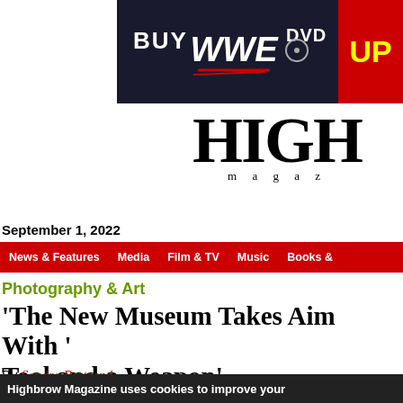[Figure (screenshot): WWE DVD advertisement banner — dark blue background with 'BUY WWE DVD' text, WWE logo, and red section with 'UP' in yellow on right]
[Figure (logo): Highbrow Magazine logo — large serif 'HIGH' text with 'magazine' in spaced small caps below]
September 1, 2022
News & Features   Media   Film & TV   Music   Books &
Photography & Art
'The New Museum Takes Aim With 'Tool and a Weapon'
By Sandra Bertrand
Posted Sunday, October 29, 2017 - 3:03 pm
Highbrow Magazine uses cookies to improve your